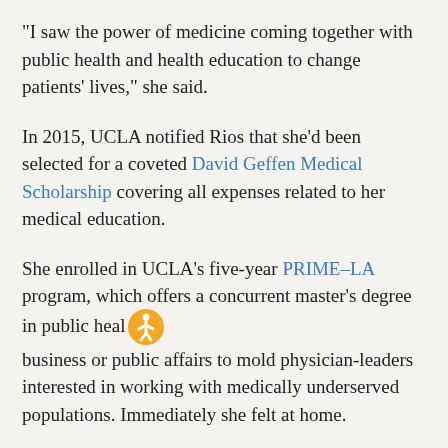"I saw the power of medicine coming together with public health and health education to change patients' lives," she said.
In 2015, UCLA notified Rios that she'd been selected for a coveted David Geffen Medical Scholarship covering all expenses related to her medical education.
She enrolled in UCLA's five-year PRIME–LA program, which offers a concurrent master's degree in public health, business or public affairs to mold physician-leaders interested in working with medically underserved populations. Immediately she felt at home.
"My PRIME classmates and I shared similar backgrounds and a common passion for increasing ethnic diversity in the medical field," she said. "Plus, I really wanted a dual degree. I knew that an MD alone wouldn't allow me to empower my patients and improve community health the